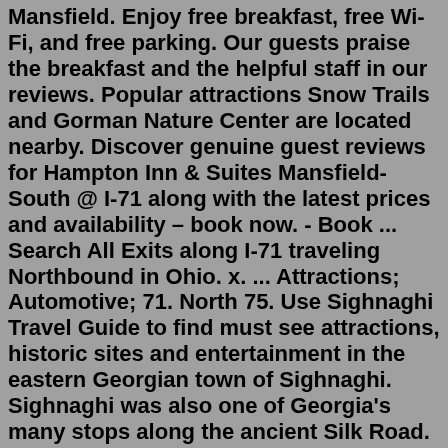Mansfield. Enjoy free breakfast, free Wi-Fi, and free parking. Our guests praise the breakfast and the helpful staff in our reviews. Popular attractions Snow Trails and Gorman Nature Center are located nearby. Discover genuine guest reviews for Hampton Inn & Suites Mansfield-South @ I-71 along with the latest prices and availability – book now. - Book ... Search All Exits along I-71 traveling Northbound in Ohio. x. ... Attractions; Automotive; 71. North 75. Use Sighnaghi Travel Guide to find must see attractions, historic sites and entertainment in the eastern Georgian town of Sighnaghi. Sighnaghi was also one of Georgia's many stops along the ancient Silk Road. Sighnaghi is just over an hour away from Tbilisi, which makes it a good escape from the busy...Most notably, check out the Cadillac Ranch, Jack Sisemore Museum, Wonderland Amusement Park, and Amarillo Botanical Gardens. Cadillac Ranch. Photo by Mobilus/Flickr. Cadillac Ranch is one of the most iconic roadside attractions on Interstate 40. The ten graffitied Cadillacs are lined up and half-buried nose